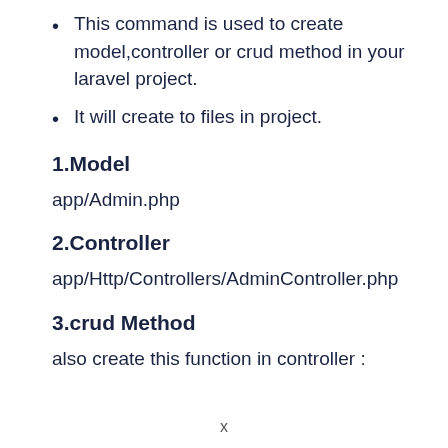This command is used to create model,controller or crud method in your laravel project.
It will create to files in project.
1.Model
app/Admin.php
2.Controller
app/Http/Controllers/AdminController.php
3.crud Method
also create this function in controller :
x